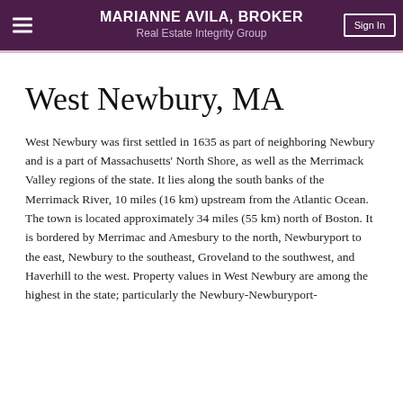MARIANNE AVILA, BROKER Real Estate Integrity Group
West Newbury, MA
West Newbury was first settled in 1635 as part of neighboring Newbury and is a part of Massachusetts' North Shore, as well as the Merrimack Valley regions of the state. It lies along the south banks of the Merrimack River, 10 miles (16 km) upstream from the Atlantic Ocean. The town is located approximately 34 miles (55 km) north of Boston. It is bordered by Merrimac and Amesbury to the north, Newburyport to the east, Newbury to the southeast, Groveland to the southwest, and Haverhill to the west. Property values in West Newbury are among the highest in the state; particularly the Newbury-Newburyport-